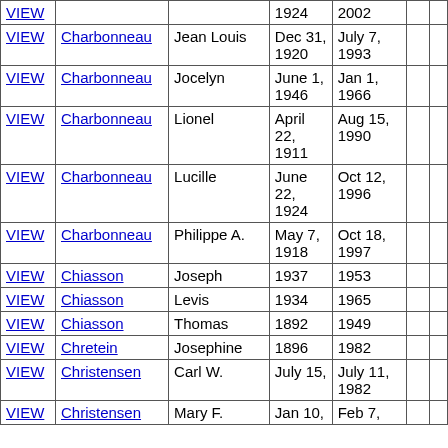|  | Last Name | First Name | Born | Died |  |  |
| --- | --- | --- | --- | --- | --- | --- |
| VIEW | Charbonneau |  | 1924 | 2002 |  |  |
| VIEW | Charbonneau | Jean Louis | Dec 31, 1920 | July 7, 1993 |  |  |
| VIEW | Charbonneau | Jocelyn | June 1, 1946 | Jan 1, 1966 |  |  |
| VIEW | Charbonneau | Lionel | April 22, 1911 | Aug 15, 1990 |  |  |
| VIEW | Charbonneau | Lucille | June 22, 1924 | Oct 12, 1996 |  |  |
| VIEW | Charbonneau | Philippe A. | May 7, 1918 | Oct 18, 1997 |  |  |
| VIEW | Chiasson | Joseph | 1937 | 1953 |  |  |
| VIEW | Chiasson | Levis | 1934 | 1965 |  |  |
| VIEW | Chiasson | Thomas | 1892 | 1949 |  |  |
| VIEW | Chretein | Josephine | 1896 | 1982 |  |  |
| VIEW | Christensen | Carl W. | July 15, | July 11, 1982 |  |  |
| VIEW | Christensen | Mary F. | Jan 10, | Feb 7, |  |  |